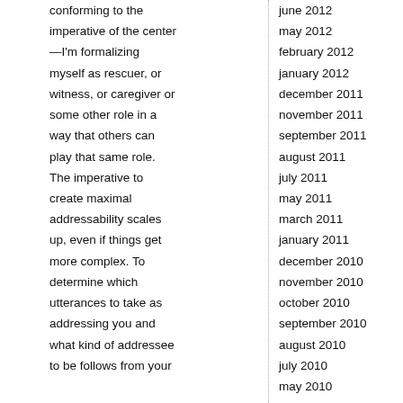conforming to the imperative of the center —I'm formalizing myself as rescuer, or witness, or caregiver or some other role in a way that others can play that same role. The imperative to create maximal addressability scales up, even if things get more complex. To determine which utterances to take as addressing you and what kind of addressee to be follows from your
june 2012
may 2012
february 2012
january 2012
december 2011
november 2011
september 2011
august 2011
july 2011
may 2011
march 2011
january 2011
december 2010
november 2010
october 2010
september 2010
august 2010
july 2010
may 2010
april 2010
march 2010
february 2010
january 2010
december 2009
november 2009
october 2009
september 2009
august 2009
july 2009
june 2009
may 2009
april 2009
march 2009